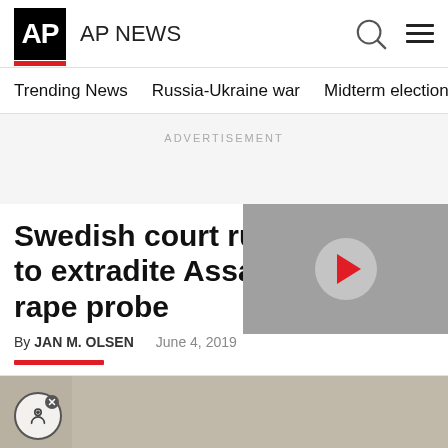AP NEWS
Trending News   Russia-Ukraine war   Midterm elections   Dona
ADVERTISEMENT
Swedish court rules not to extradite Assange for rape probe
By JAN M. OLSEN   June 4, 2019
[Figure (photo): Video thumbnail with play button overlay on gray background]
[Figure (photo): Bottom image area with accessibility button and partial photo]